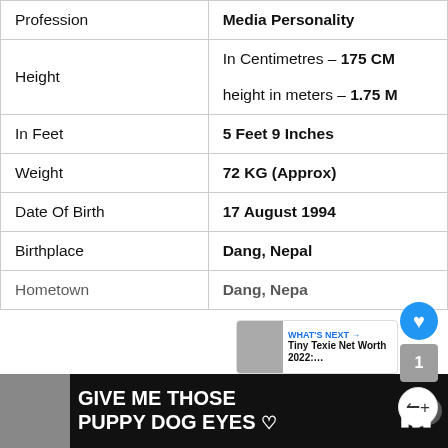| Field | Value |
| --- | --- |
| Profession | Media Personality |
| Height | In Centimetres – 175 CM
height in meters – 1.75 M |
| In Feet | 5 Feet 9 Inches |
| Weight | 72 KG (Approx) |
| Date Of Birth | 17 August 1994 |
| Birthplace | Dang, Nepal |
| Hometown | Dang, Nepa... |